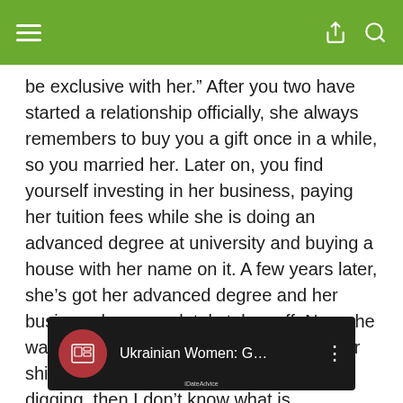[Navigation bar with hamburger menu, share icon, search icon]
be exclusive with her.” After you two have started a relationship officially, she always remembers to buy you a gift once in a while, so you married her. Later on, you find yourself investing in her business, paying her tuition fees while she is doing an advanced degree at university and buying a house with her name on it. A few years later, she’s got her advanced degree and her business has completely taken off. Now she wants a divorce in order to get half of your shit. If that’s not ultra-high level of gold-digging, then I don’t know what is.
[Figure (screenshot): Video thumbnail with dark background showing iDateAdvice logo (red circle with book icon) and text 'Ukrainian Women: G...' with three-dot menu icon]